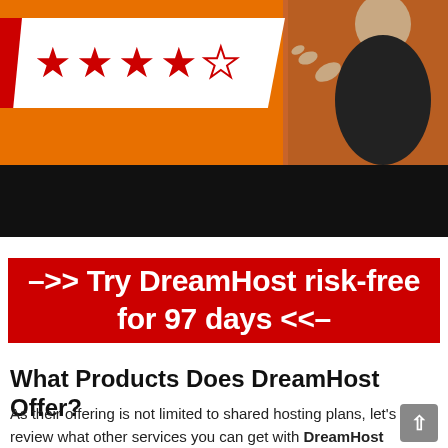[Figure (illustration): Orange banner background with a white ribbon containing 4 red filled stars and 1 red outlined empty star, with a red triangular accent on the left edge. A person in a dark shirt pointing is visible on the right side.]
[Figure (illustration): Black horizontal bar below the banner image.]
–>> Try DreamHost risk-free for 97 days <<–
What Products Does DreamHost Offer?
As their offering is not limited to shared hosting plans, let's review what other services you can get with DreamHost